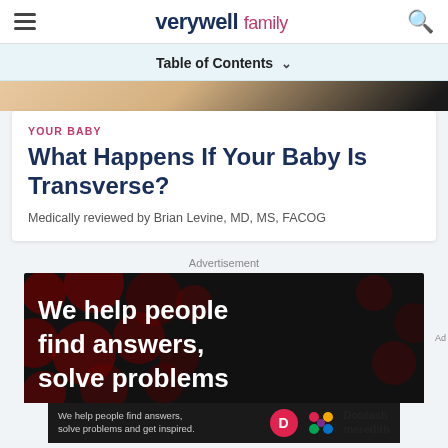verywell family
Table of Contents
[Figure (photo): Partial view of a baby's face, warm tones]
YOUR BABY
What Happens If Your Baby Is Transverse?
Medically reviewed by Brian Levine, MD, MS, FACOG
Advertisement
[Figure (infographic): Dark advertisement banner with red dot pattern background. Large white bold text reads: We help people find answers, solve problems. Bottom bar shows: We help people find answers, solve problems and get inspired. Dotdash Meredith logo on right.]